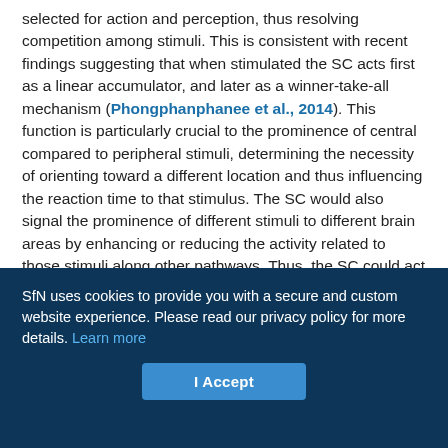selected for action and perception, thus resolving competition among stimuli. This is consistent with recent findings suggesting that when stimulated the SC acts first as a linear accumulator, and later as a winner-take-all mechanism (Phongphanphanee et al., 2014). This function is particularly crucial to the prominence of central compared to peripheral stimuli, determining the necessity of orienting toward a different location and thus influencing the reaction time to that stimulus. The SC would also signal the prominence of different stimuli to different brain areas by enhancing or reducing the activity related to those stimuli along other pathways. Thus, the SC could act as the common modulator for temporally coupling action and perception.
SfN uses cookies to provide you with a secure and custom website experience. Please read our privacy policy for more details. Learn more